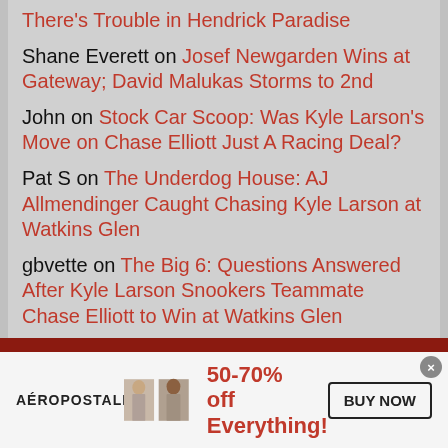There's Trouble in Hendrick Paradise
Shane Everett on Josef Newgarden Wins at Gateway; David Malukas Storms to 2nd
John on Stock Car Scoop: Was Kyle Larson's Move on Chase Elliott Just A Racing Deal?
Pat S on The Underdog House: AJ Allmendinger Caught Chasing Kyle Larson at Watkins Glen
gbvette on The Big 6: Questions Answered After Kyle Larson Snookers Teammate Chase Elliott to Win at Watkins Glen
[Figure (infographic): Aeropostale advertisement showing two female models, 50-70% off Everything!, BUY NOW button]